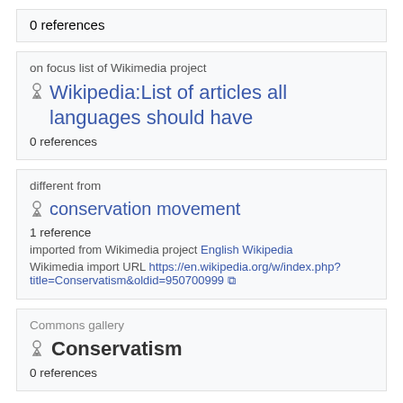0 references
on focus list of Wikimedia project
Wikipedia:List of articles all languages should have
0 references
different from
conservation movement
1 reference
imported from Wikimedia project English Wikipedia
Wikimedia import URL https://en.wikipedia.org/w/index.php?title=Conservatism&oldid=950700999
Commons gallery
Conservatism
0 references